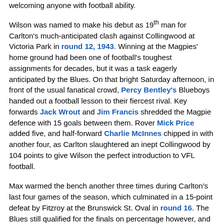welcoming anyone with football ability.
Wilson was named to make his debut as 19th man for Carlton's much-anticipated clash against Collingwood at Victoria Park in round 12, 1943. Winning at the Magpies' home ground had been one of football's toughest assignments for decades, but it was a task eagerly anticipated by the Blues. On that bright Saturday afternoon, in front of the usual fanatical crowd, Percy Bentley's Blueboys handed out a football lesson to their fiercest rival. Key forwards Jack Wrout and Jim Francis shredded the Magpie defence with 15 goals between them. Rover Mick Price added five, and half-forward Charlie McInnes chipped in with another four, as Carlton slaughtered an inept Collingwood by 104 points to give Wilson the perfect introduction to VFL football.
Max warmed the bench another three times during Carlton's last four games of the season, which culminated in a 15-point defeat by Fitzroy at the Brunswick St. Oval in round 16. The Blues still qualified for the finals on percentage however, and aimed up for another shot at the Maroons in the first Semi Final. On the Thursday evening prior to that match, Wilson was chosen for his first full game at half-back for the Blues, replacing the injured Frank Anderson.
Despite the deprivations of wartime life in Melbourne, nearly 40,000 spectators crammed into the MCG on that weekend. They were treated to a typically rugged clash that was decided in the third quarter, when the Maroons pulled away to win by 51 points and end Carlton's finals hopes at the first hurdle.